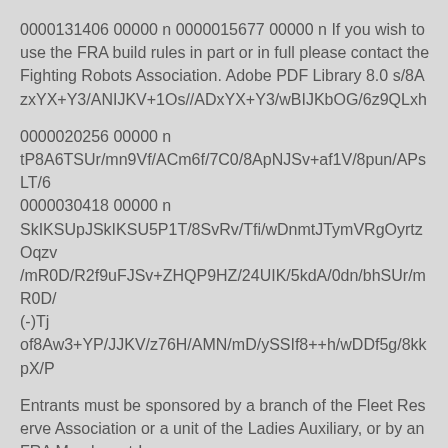0000131406 00000 n 0000015677 00000 n If you wish to use the FRA build rules in part or in full please contact the Fighting Robots Association. Adobe PDF Library 8.0 s/8AzxYX+Y3/ANIJKV+1Os//ADxYX+Y3/wBIJKbOG/6z9QLxh
0000020256 00000 n
tP8A6TSUr/mn9Vf/ACm6f/7C0/8ApNJSv+af1V/8pun/APsLT/6
0000030418 00000 n
SkIKSUpJSkIKSU5P1T/8SvRv/Tfi/wDnmtJTymVRgOyrtzOqzv
/mR0D/R2f9uFJSv+ZHQP9HZ/24UIK/5kdA/0dn/bhSUr/mR0D/
(-)Tj
of8Aw3+YP/JJKV/z76H/AMN/mD/ySSIf8++h/wDDf5g/8kkpX/P
Entrants must be sponsored by a branch of the Fleet Reserve Association or a unit of the Ladies Auxiliary, or by an FRA Member-at-Large.
[(U)43(n)4(der 12)]TJ